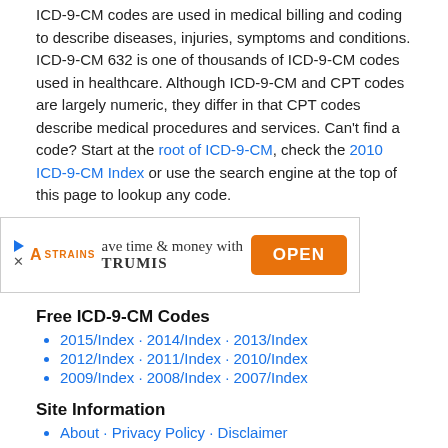ICD-9-CM codes are used in medical billing and coding to describe diseases, injuries, symptoms and conditions. ICD-9-CM 632 is one of thousands of ICD-9-CM codes used in healthcare. Although ICD-9-CM and CPT codes are largely numeric, they differ in that CPT codes describe medical procedures and services. Can't find a code? Start at the root of ICD-9-CM, check the 2010 ICD-9-CM Index or use the search engine at the top of this page to lookup any code.
[Figure (other): Advertisement banner for TRUMIS with an orange OPEN button]
Free ICD-9-CM Codes
2015/Index · 2014/Index · 2013/Index
2012/Index · 2011/Index · 2010/Index
2009/Index · 2008/Index · 2007/Index
Site Information
About · Privacy Policy · Disclaimer
Free ICD-10-CM/PCS Codes
2016 ICD-10-CM Diagnosis Codes · Index
Convert ICD-9-CM <-> 2016 ICD-10-CM
2016 ICD-10-PCS Procedure Codes
Free HCPCS Codes
2016 · 2015 · 2014 · 2013 · 2012
2011 · 2010 · 2009 · 2008